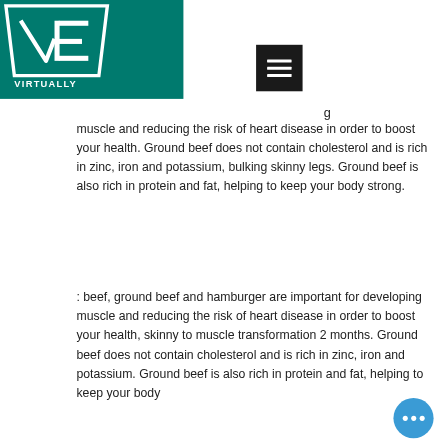[Figure (logo): Virtually Entertained logo — white VE emblem in teal trapezoid shape with text VIRTUALLY ENTERTAINED below]
and contain cular.
g muscle and reducing the risk of heart disease in order to boost your health. Ground beef does not contain cholesterol and is rich in zinc, iron and potassium, bulking skinny legs. Ground beef is also rich in protein and fat, helping to keep your body strong.
: beef, ground beef and hamburger are important for developing muscle and reducing the risk of heart disease in order to boost your health, skinny to muscle transformation 2 months. Ground beef does not contain cholesterol and is rich in zinc, iron and potassium. Ground beef is also rich in protein and fat, helping to keep your body